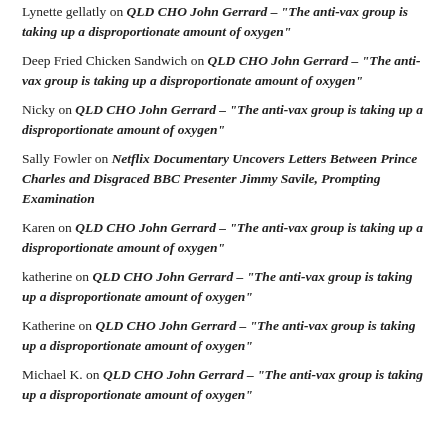Lynette gellatly on QLD CHO John Gerrard – "The anti-vax group is taking up a disproportionate amount of oxygen"
Deep Fried Chicken Sandwich on QLD CHO John Gerrard – "The anti-vax group is taking up a disproportionate amount of oxygen"
Nicky on QLD CHO John Gerrard – "The anti-vax group is taking up a disproportionate amount of oxygen"
Sally Fowler on Netflix Documentary Uncovers Letters Between Prince Charles and Disgraced BBC Presenter Jimmy Savile, Prompting Examination
Karen on QLD CHO John Gerrard – "The anti-vax group is taking up a disproportionate amount of oxygen"
katherine on QLD CHO John Gerrard – "The anti-vax group is taking up a disproportionate amount of oxygen"
Katherine on QLD CHO John Gerrard – "The anti-vax group is taking up a disproportionate amount of oxygen"
Michael K. on QLD CHO John Gerrard – "The anti-vax group is taking up a disproportionate amount of oxygen"